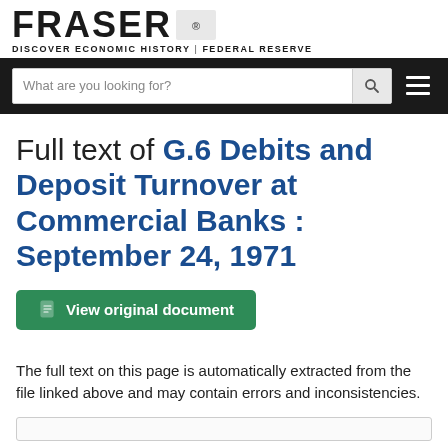FRASER — DISCOVER ECONOMIC HISTORY | FEDERAL RESERVE
Full text of G.6 Debits and Deposit Turnover at Commercial Banks : September 24, 1971
View original document
The full text on this page is automatically extracted from the file linked above and may contain errors and inconsistencies.